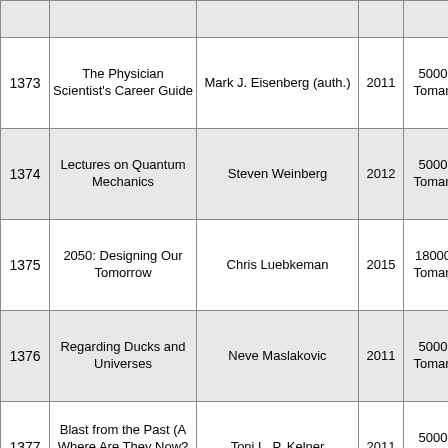| ID | Title | Author | Year | Price |  |
| --- | --- | --- | --- | --- | --- |
| 1373 | The Physician Scientist's Career Guide | Mark J. Eisenberg (auth.) | 2011 | 5000 Toman |  |
| 1374 | Lectures on Quantum Mechanics | Steven Weinberg | 2012 | 5000 Toman |  |
| 1375 | 2050: Designing Our Tomorrow | Chris Luebkeman | 2015 | 18000 Toman |  |
| 1376 | Regarding Ducks and Universes | Neve Maslakovic | 2011 | 5000 Toman |  |
| 1377 | Blast from the Past (A Where Are They Now? Mystery) | Toni L. P. Kelner | 2011 | 5000 Toman |  |